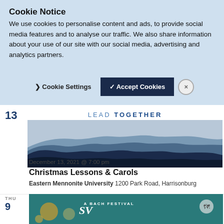Cookie Notice
We use cookies to personalise content and ads, to provide social media features and to analyse our traffic. We also share information about your use of our site with our social media, advertising and analytics partners.
Cookie Settings   ✓ Accept Cookies   ✕
13
[Figure (illustration): LEAD TOGETHER banner with layered blue mountain silhouettes]
December 13, 2021 @ 7:00 pm
Christmas Lessons & Carols
Eastern Mennonite University 1200 Park Road, Harrisonburg
THU 9
[Figure (illustration): A Bach Festival promotional banner with teal/blue background]